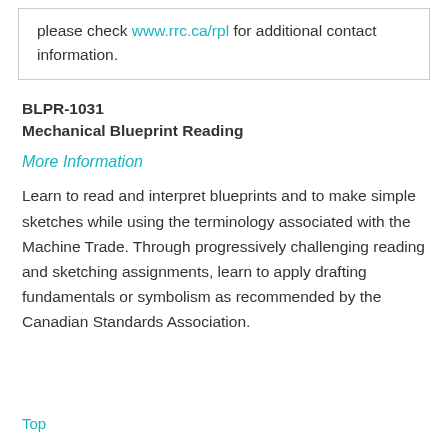please check www.rrc.ca/rpl for additional contact information.
BLPR-1031
Mechanical Blueprint Reading
More Information
Learn to read and interpret blueprints and to make simple sketches while using the terminology associated with the Machine Trade. Through progressively challenging reading and sketching assignments, learn to apply drafting fundamentals or symbolism as recommended by the Canadian Standards Association.
Top